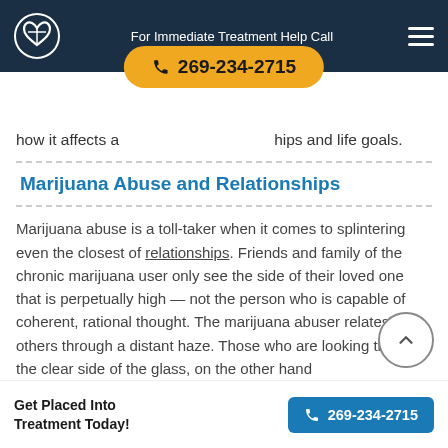For Immediate Treatment Help Call
[Figure (other): Yellow pill-shaped phone button with number 269-234-2715]
how it affects a... ...hips and life goals.
Marijuana Abuse and Relationships
Marijuana abuse is a toll-taker when it comes to splintering even the closest of relationships. Friends and family of the chronic marijuana user only see the side of their loved one that is perpetually high — not the person who is capable of coherent, rational thought. The marijuana abuser rel... others through a distant haze. Those who are looking... through the clear side of the glass, on the other hand...
Get Placed Into Treatment Today!
[Figure (other): Teal phone button with number 269-234-2715]